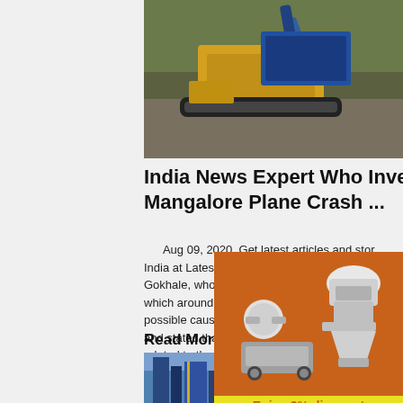[Figure (photo): Excavator working at a mining or construction site, blue machinery on rocky terrain]
India News Expert Who Investigated Mangalore Plane Crash ...
Aug 09, 2020  Get latest articles and stories on India at LatestLY. Air Marshal (Retired) Bhushan Gokhale, who investigated the Mangalore plane crash which around 158 passengers were killed in 2010, spoke about possible causes behind the Kozhikode plane tragedy and stated that inquiry panel will go into details related to the mishap. India News Expert Who Investigated Mangalore Plane Crash
Read More
[Figure (photo): Industrial processing plant or factory with blue metal structures and equipment]
[Figure (photo): Orange advertisement sidebar showing mining/crushing machinery with discount offer and click to chat button]
Enjoy 3% discount
Click to Chat
Enquiry
limingjlmofen@sina.com